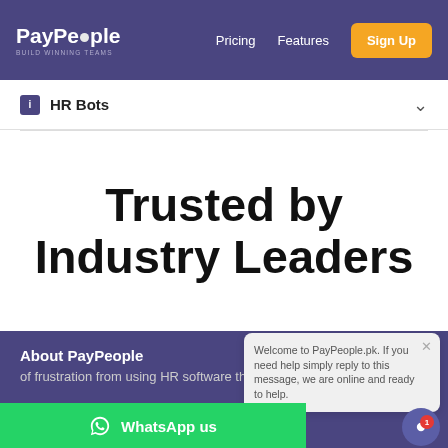PayPeople — Pricing | Features | Sign Up
HR Bots
Trusted by Industry Leaders
About PayPeople
of frustration from using HR software that sucks. We were constantly
Welcome to PayPeople.pk. If you need help simply reply to this message, we are online and ready to help.